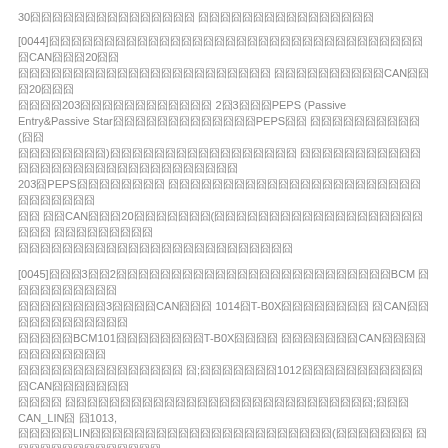30囧囧囧囧囧囧囧囧囧囧囧囧囧囧囧 囧囧囧囧囧囧囧囧囧囧囧囧囧囧囧囧
[0044]囧囧囧囧囧囧囧囧囧囧囧囧囧囧囧囧囧囧囧囧囧囧囧囧囧囧囧囧囧囧囧囧囧囧 囧CAN囧囧囧20囧囧 囧囧囧囧囧囧囧囧囧囧囧囧囧囧囧囧囧囧囧囧囧囧囧 囧囧囧囧囧囧囧囧囧囧CAN囧囧囧20囧囧囧 囧囧囧囧203囧囧囧囧囧囧囧囧囧囧囧囧 2囧3囧囧囧PEPS (Passive Entry&amp;Passive Star囧囧囧囧囧囧囧囧囧囧囧囧囧PEPS囧囧 囧囧囧囧囧囧囧囧囧囧(囧囧 囧囧囧囧囧囧囧囧)囧囧囧囧囧囧囧囧囧囧囧囧囧囧囧囧囧 囧囧囧囧囧囧囧囧囧囧囧囧囧囧囧囧囧囧囧囧囧囧囧囧囧囧囧囧囧囧囧 203囧PEPS囧囧囧囧囧囧囧囧 囧囧囧囧囧囧囧囧囧囧囧囧囧囧囧囧囧囧囧囧囧囧囧囧囧囧囧囧囧囧 囧囧 囧囧CAN囧囧囧20囧囧囧囧囧囧囧(囧囧囧囧囧囧囧囧囧囧囧囧囧囧囧囧囧囧囧囧囧囧 囧囧囧囧囧囧囧囧囧 囧囧囧囧囧囧囧囧囧囧囧囧囧囧囧囧囧囧囧囧囧囧囧囧囧囧
[0045]囧囧囧3囧囧2囧囧囧囧囧囧囧囧囧囧囧囧囧囧囧囧囧囧囧囧囧囧囧囧囧BCM 囧囧囧囧囧囧囧囧囧囧 囧囧囧囧囧囧囧囧3囧囧囧囧CAN囧囧囧 1014囧T-B0X囧囧囧囧囧囧囧囧 囧CAN囧囧囧囧囧囧囧囧囧囧囧囧 囧囧囧囧囧BCM101囧囧囧囧囧囧囧囧T-B0X囧囧囧囧 囧囧囧囧囧囧囧CAN囧囧囧囧囧囧囧囧囧囧囧囧 囧囧囧囧囧囧囧囧囧囧囧囧囧囧囧 囧;囧囧囧囧囧囧囧1012囧囧囧囧囧囧囧囧囧囧囧囧CAN囧囧囧囧囧囧囧 囧囧囧囧 囧囧囧囧囧囧囧囧囧囧囧囧囧囧囧囧囧囧囧囧囧囧囧囧囧囧囧囧;囧囧囧CAN_LIN囧 囧1013, 囧囧囧囧囧LIN囧囧囧囧囧囧囧囧囧囧囧囧囧囧囧囧囧囧囧囧囧囧(囧囧囧囧囧囧囧 囧囧囧囧囧囧囧囧囧囧囧囧囧囧 囧囧囧囧囧囧囧囧囧囧囧囧
[0046] 囧囧BCM101囧囧CAN_LIN囧囧1013囧囧囧囧囧囧囧囧囧囧囧囧囧囧囧囧囧囧囧 囧 囧囧囧囧囧囧囧囧囧囧囧4,囧囧4囧囧囧囧CAN_LIN囧囧1013囧囧LIN囧囧囧囧囧囧囧囧 囧204囧 囧囧囧囧囧囧囧囧BCM101囧囧LIN囧囧囧SoundQnd囧IndSts囧囧囧囧囧囧囧囧 204,囧 囧囧囧囧囧204囧囧囧囧囧囧囧囧囧囧囧囧囧囧囧囧囧囧囧CAN_LIN囧囧 1013囧囧囧囧囧囧